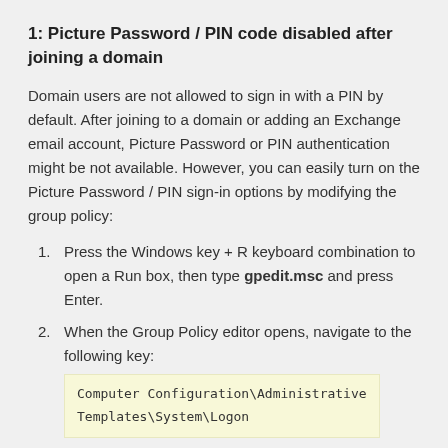1: Picture Password / PIN code disabled after joining a domain
Domain users are not allowed to sign in with a PIN by default. After joining to a domain or adding an Exchange email account, Picture Password or PIN authentication might be not available. However, you can easily turn on the Picture Password / PIN sign-in options by modifying the group policy:
Press the Windows key + R keyboard combination to open a Run box, then type gpedit.msc and press Enter.
When the Group Policy editor opens, navigate to the following key: Computer Configuration\Administrative Templates\System\Logon